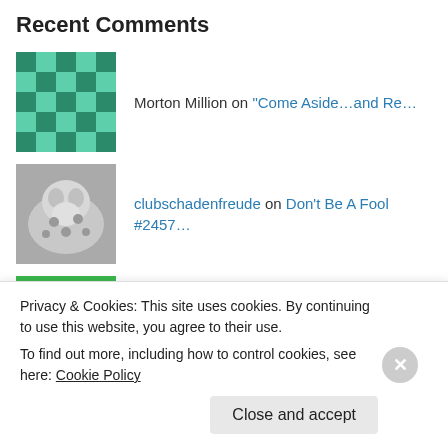Recent Comments
Morton Million on "Come Aside…and Re…"
clubschadenfreude on Don't Be A Fool #2457…
Clark Buzbee on Joseph Exemplifies Forgiveness…
swordtips on Not Far From the Kingdom #2369…
Clark Buzbee on Not Far From the Kingdom #2369…
Privacy & Cookies: This site uses cookies. By continuing to use this website, you agree to their use. To find out more, including how to control cookies, see here: Cookie Policy
Close and accept